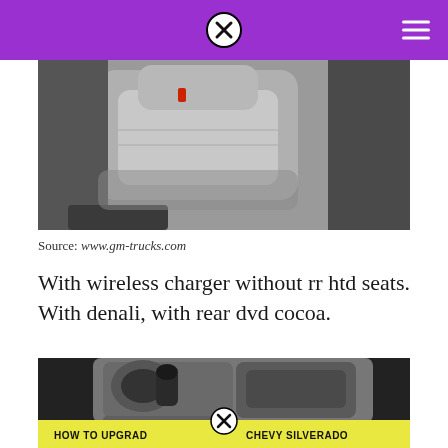[Figure (photo): Interior of a vehicle showing gray leather seats from a side angle]
Source: www.gm-trucks.com
With wireless charger without rr htd seats. With denali, with rear dvd cocoa.
[Figure (photo): Close-up of a vehicle center console showing cup holders, gear shift area, and storage compartments in gray plastic. A yellow banner at the bottom reads HOW TO UPGRADE CHEVY SILVERADO with a close icon overlay.]